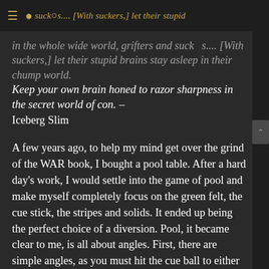in the whole wide world, grifters and suckers.... [With suckers,] let their stupid brains stay asleep in their chump world.
Keep your own brain honed to razor sharpness in the secret world of con. – Iceberg Slim
A few years ago, to help my mind get over the grind of the WAR book, I bought a pool table. After a hard day's work, I would settle into the game of pool and make myself completely focus on the green felt, the cue stick, the stripes and solids. It ended up being the perfect choice of a diversion. Pool, it became clear to me, is all about angles. First, there are simple angles, as you must hit the cue ball to either side when you are not straight on. This is often not as easy as it seems. Then, there are the angles you take when you